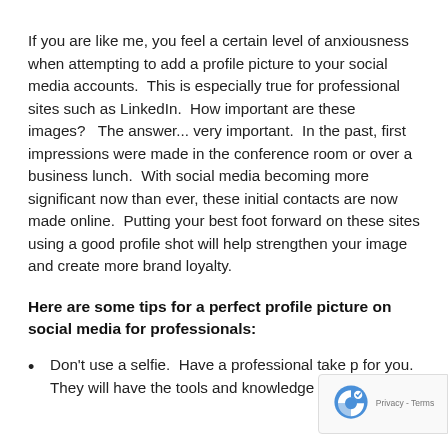If you are like me, you feel a certain level of anxiousness when attempting to add a profile picture to your social media accounts.  This is especially true for professional sites such as LinkedIn.  How important are these images?   The answer... very important.  In the past, first impressions were made in the conference room or over a business lunch.  With social media becoming more significant now than ever, these initial contacts are now made online.  Putting your best foot forward on these sites using a good profile shot will help strengthen your image and create more brand loyalty.
Here are some tips for a perfect profile picture on social media for professionals:
Don't use a selfie.  Have a professional take p for you.  They will have the tools and knowledge to